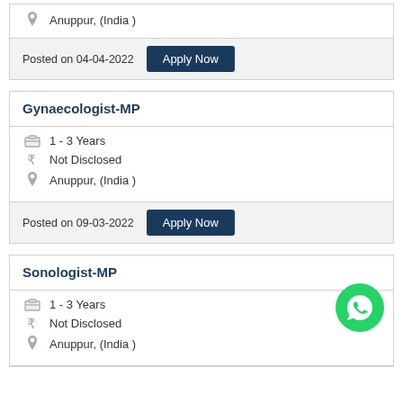Anuppur, (India )
Posted on 04-04-2022  Apply Now
Gynaecologist-MP
1 - 3 Years
Not Disclosed
Anuppur, (India )
Posted on 09-03-2022  Apply Now
Sonologist-MP
1 - 3 Years
Not Disclosed
Anuppur, (India )
[Figure (logo): WhatsApp green circle icon]